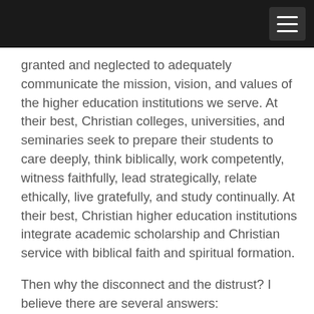granted and neglected to adequately communicate the mission, vision, and values of the higher education institutions we serve. At their best, Christian colleges, universities, and seminaries seek to prepare their students to care deeply, think biblically, work competently, witness faithfully, lead strategically, relate ethically, live gratefully, and study continually. At their best, Christian higher education institutions integrate academic scholarship and Christian service with biblical faith and spiritual formation.
Then why the disconnect and the distrust? I believe there are several answers:
1.  Christians have difficulty wrapping their arms